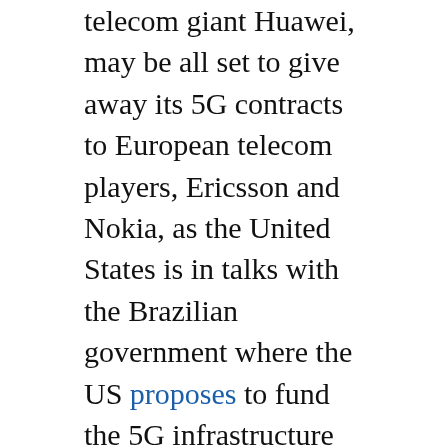telecom giant Huawei, may be all set to give away its 5G contracts to European telecom players, Ericsson and Nokia, as the United States is in talks with the Brazilian government where the US proposes to fund the 5G infrastructure under the condition that Brazil dumps Huawei.
At a purely operational level, Washington has given some severe jolts to the telecom major. The Trump administration imposed semiconductor (chip) export restrictions on the company last month. The Chinese giant's survival is at stake now. Guo Ping...